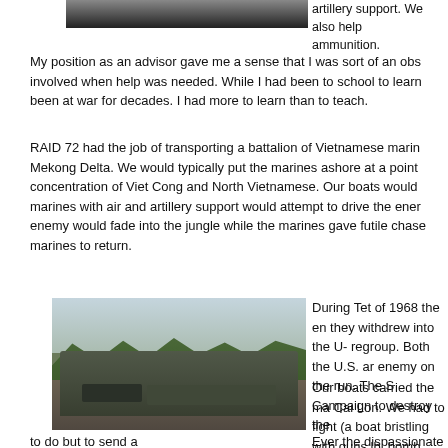[Figure (photo): Partial top photo showing person, cropped at top of page]
artillery support. We also help ammunition.
My position as an advisor gave me a sense that I was sort of an obs involved when help was needed. While I had been to school to learn been at war for decades. I had more to learn than to teach.
RAID 72 had the job of transporting a battalion of Vietnamese marin Mekong Delta. We would typically put the marines ashore at a point concentration of Viet Cong and North Vietnamese. Our boats would marines with air and artillery support would attempt to drive the ener enemy would fade into the jungle while the marines gave futile chase marines to return.
[Figure (photo): Military boat/vehicle on muddy river water with tropical vegetation and palm trees in background]
During Tet of 1968 the en they withdrew into the U- regroup. Both the U.S. ar enemy on the run. The S Campaign to destroy the
Our boats carried the ma Cai Lon. We had to fight (a boat bristling with guns lb. bomb, killing all five sa
Ever the dispassionate o sinking. After all, this see
to do but to send a report.